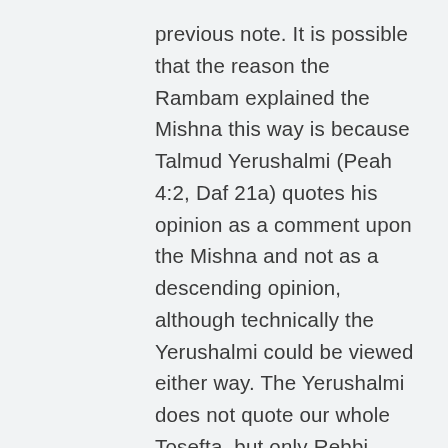previous note. It is possible that the reason the Rambam explained the Mishna this way is because Talmud Yerushalmi (Peah 4:2, Daf 21a) quotes his opinion as a comment upon the Mishna and not as a descending opinion, although technically the Yerushalmi could be viewed either way. The Yerushalmi does not quote our whole Tosefta, but only Rebbi Meir's opinion thus implying that the Halacha follows Rebbi Meir, which pushed the Rambam to rule like him. I would to suggest that the argument between the Rash Mishantz and the Rambam is really an argument between the Tosefta and the Yerushalmi. Since the Yerushalmi does not quote the whole Tosefta, but only Rebbi Meir's opinion and begins its quote with the words Tanni Beshem Rebbi Meir (it was taught in a Beraita in